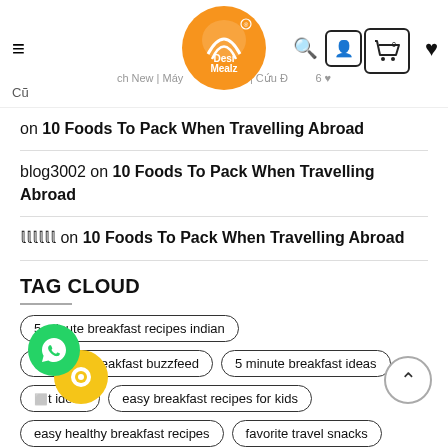DesiMealz – hamburger menu, logo, search, account, cart (0), wishlist
Cũ on 10 Foods To Pack When Travelling Abroad
blog3002 on 10 Foods To Pack When Travelling Abroad
𝕝𝕝𝕝𝕝𝕝𝕝 on 10 Foods To Pack When Travelling Abroad
TAG CLOUD
5 minute breakfast recipes indian
5 minute breakfast buzzfeed
5 minute breakfast ideas
easy breakfast recipes for kids
easy healthy breakfast recipes
favorite travel snacks